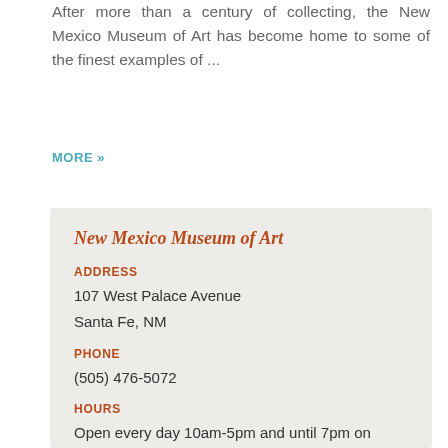After more than a century of collecting, the New Mexico Museum of Art has become home to some of the finest examples of ...
MORE »
New Mexico Museum of Art
ADDRESS
107 West Palace Avenue
Santa Fe, NM
PHONE
(505) 476-5072
HOURS
Open every day 10am-5pm and until 7pm on Friday. (May through October)
ADMISSION